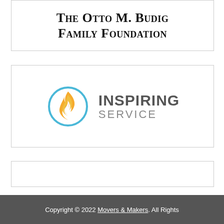[Figure (logo): The Otto M. Budig Family Foundation logo - text-based logo with serif small-caps font reading 'The Otto M. Budig Family Foundation']
[Figure (logo): Inspiring Service logo - flame icon with blue circle and gray text reading 'INSPIRING SERVICE']
[Figure (other): Empty white box with border]
Copyright © 2022 Movers & Makers. All Rights